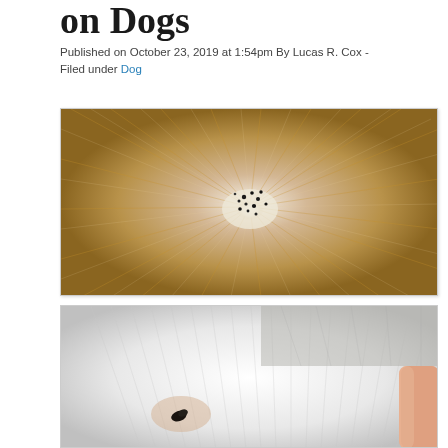on Dogs
Published on October 23, 2019 at 1:54pm By Lucas R. Cox - Filed under Dog
[Figure (photo): Close-up photo of dog fur parted to show small black specks (likely flea dirt) near the skin, with golden/brown fur radiating outward from a central white skin area]
[Figure (photo): Close-up photo of white dog fur with a single dark insect (flea or tick) visible on the skin, with a human finger partially visible at the right edge]